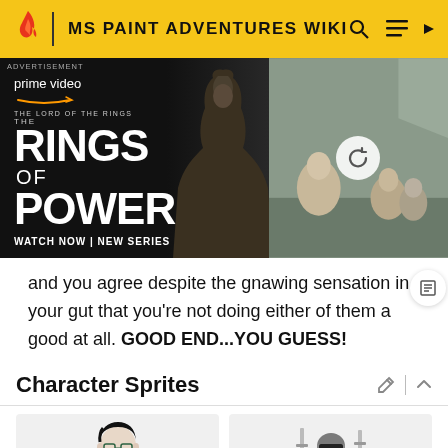MS PAINT ADVENTURES WIKI
[Figure (photo): Advertisement banner for Amazon Prime Video - The Lord of the Rings: The Rings of Power. Left side shows dark hooded figure; right side shows group of people with a refresh/reload circle icon overlay. Text reads: prime video, THE LORD OF THE RINGS THE RINGS OF POWER, WATCH NOW | NEW SERIES]
and you agree despite the gnawing sensation in your gut that you're not doing either of them a good at all. GOOD END...YOU GUESS!
Character Sprites
[Figure (illustration): Character sprite illustration of a person with dark hair and glasses (left card)]
[Figure (illustration): Character sprite illustration of an armored figure holding swords (right card)]